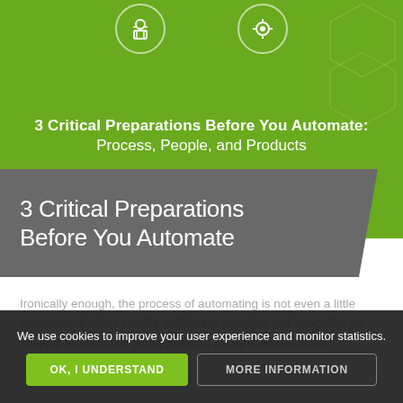[Figure (illustration): Green header background with two white icon circles (automation/robot icons) and a decorative hexagon pattern on the right side]
3 Critical Preparations Before You Automate: Process, People, and Products
3 Critical Preparations Before You Automate
Ironically enough, the process of automating is not even a little automatic. It takes careful, deliberate planning and execution on multiple fronts to get your operation ready to benefit from
We use cookies to improve your user experience and monitor statistics.
OK, I UNDERSTAND
MORE INFORMATION